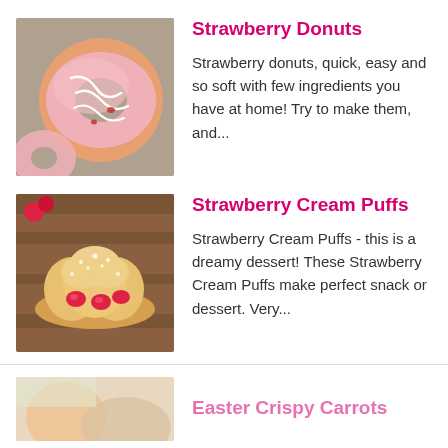[Figure (photo): Pink glazed strawberry donuts with white drizzle on top]
Strawberry Donuts
Strawberry donuts, quick, easy and so soft with few ingredients you have at home! Try to make them, and...
[Figure (photo): Strawberry cream puffs with powdered sugar and fresh strawberries]
Strawberry Cream Puffs
Strawberry Cream Puffs - this is a dreamy dessert! These Strawberry Cream Puffs make perfect snack or dessert. Very...
[Figure (photo): Partial image of Easter Crispy Carrots dish (cropped at bottom)]
Easter Crispy Carrots